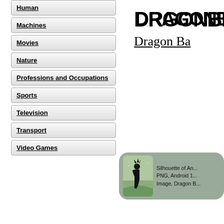Human
Machines
Movies
Nature
Professions and Occupations
Sports
Television
Transport
Video Games
Dragon Ba
[Figure (logo): Dragon Ball Z logo in stylized black lettering]
[Figure (illustration): Thumbnail card with silhouette of Android 18 on grass background, text: Silhouette of An... PNG, Android 1... Image, Dragon B...]